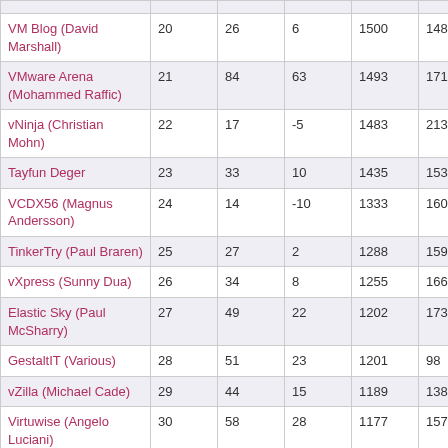| VM Blog (David Marshall) | 20 | 26 | 6 | 1500 | 148 | 946 |
| VMware Arena (Mohammed Raffic) | 21 | 84 | 63 | 1493 | 171 | 1187 |
| vNinja (Christian Mohn) | 22 | 17 | -5 | 1483 | 213 | 1247 |
| Tayfun Deger | 23 | 33 | 10 | 1435 | 153 | 1173 |
| VCDX56 (Magnus Andersson) | 24 | 14 | -10 | 1333 | 160 | 981 |
| TinkerTry (Paul Braren) | 25 | 27 | 2 | 1288 | 159 | 994 |
| vXpress (Sunny Dua) | 26 | 34 | 8 | 1255 | 166 | 1073 |
| Elastic Sky (Paul McSharry) | 27 | 49 | 22 | 1202 | 173 | 980 |
| GestaltIT (Various) | 28 | 51 | 23 | 1201 | 98 | 647 |
| vZilla (Michael Cade) | 29 | 44 | 15 | 1189 | 138 | 957 |
| Virtuwise (Angelo Luciani) | 30 | 58 | 28 | 1177 | 157 | 977 |
| Deep Storage (Howard Marks) | 31 | N/A | N/A | 1173 | 165 | 969 |